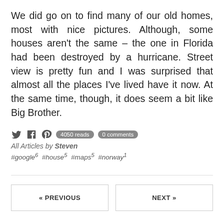We did go on to find many of our old homes, most with nice pictures. Although, some houses aren't the same – the one in Florida had been destroyed by a hurricane. Street view is pretty fun and I was surprised that almost all the places I've lived have it now. At the same time, though, it does seem a bit like Big Brother.
4050 reads  0 comments
All Articles by Steven
#google6  #house5  #maps5  #norway1
« PREVIOUS
NEXT »